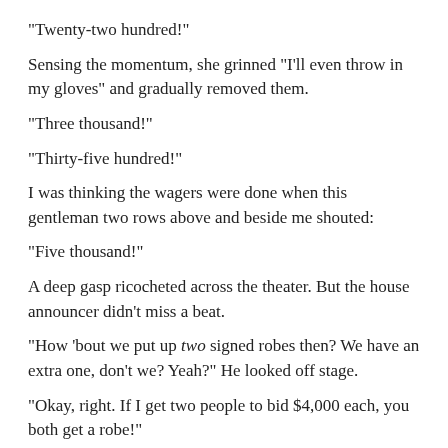“Twenty-two hundred!”
Sensing the momentum, she grinned “I’ll even throw in my gloves” and gradually removed them.
“Three thousand!”
“Thirty-five hundred!”
I was thinking the wagers were done when this gentleman two rows above and beside me shouted:
“Five thousand!”
A deep gasp ricocheted across the theater. But the house announcer didn’t miss a beat.
“How ’bout we put up two signed robes then? We have an extra one, don’t we? Yeah?” He looked off stage.
“Okay, right. If I get two people to bid $4,000 each, you both get a robe!”